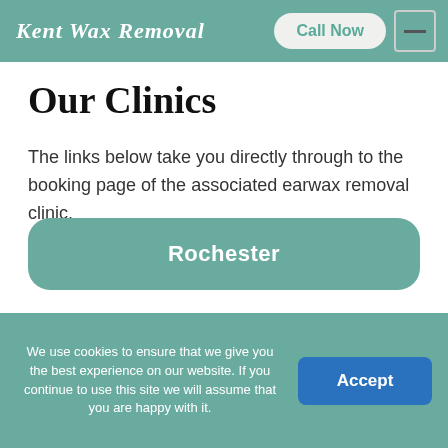Kent Wax Removal
Our Clinics
The links below take you directly through to the booking page of the associated earwax removal clinic.
Rochester
We use cookies to ensure that we give you the best experience on our website. If you continue to use this site we will assume that you are happy with it.